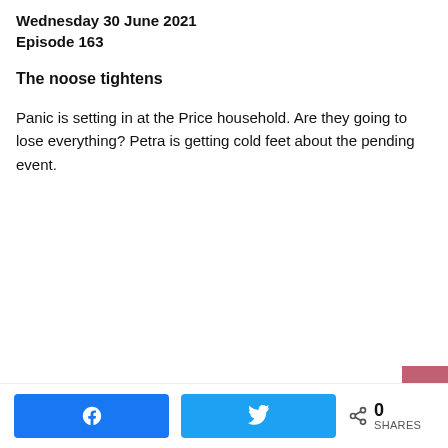Wednesday 30 June 2021
Episode 163
The noose tightens
Panic is setting in at the Price household. Are they going to lose everything? Petra is getting cold feet about the pending event.
0 SHARES